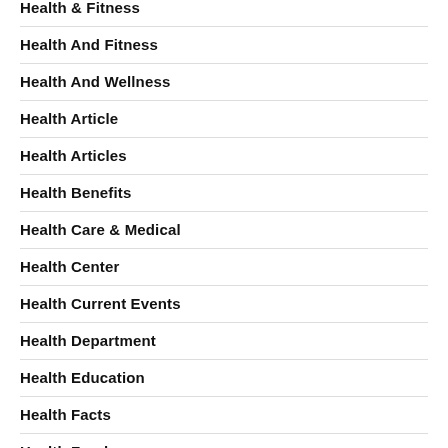Health & Fitness
Health And Fitness
Health And Wellness
Health Article
Health Articles
Health Benefits
Health Care & Medical
Health Center
Health Current Events
Health Department
Health Education
Health Facts
Health Food
Health Gov